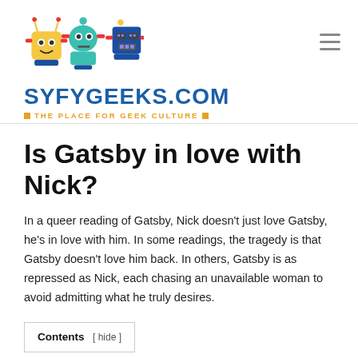[Figure (logo): SyfyGeeks.com logo with three cartoon robots and site name/tagline]
Is Gatsby in love with Nick?
In a queer reading of Gatsby, Nick doesn't just love Gatsby, he's in love with him. In some readings, the tragedy is that Gatsby doesn't love him back. In others, Gatsby is as repressed as Nick, each chasing an unavailable woman to avoid admitting what he truly desires.
Contents [ hide ]